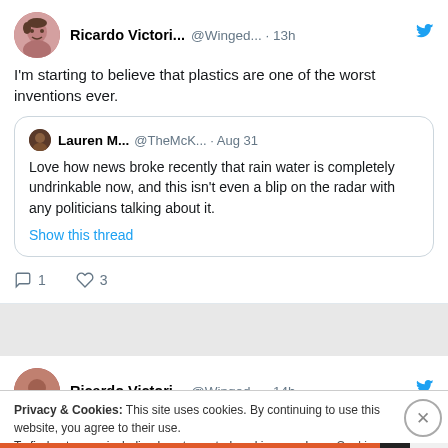Ricardo Victori... @Winged... · 13h — I'm starting to believe that plastics are one of the worst inventions ever.
Lauren M... @TheMcK... · Aug 31 — Love how news broke recently that rain water is completely undrinkable now, and this isn't even a blip on the radar with any politicians talking about it. Show this thread
Reply: 1  Like: 3
Ricardo Victori... @Winged... · 14h
Privacy & Cookies: This site uses cookies. By continuing to use this website, you agree to their use. To find out more, including how to control cookies, see here: Cookie Policy
Close and accept